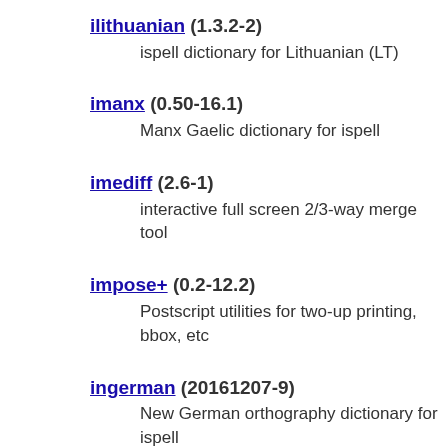ilithuanian (1.3.2-2)
    ispell dictionary for Lithuanian (LT)
imanx (0.50-16.1)
    Manx Gaelic dictionary for ispell
imediff (2.6-1)
    interactive full screen 2/3-way merge tool
impose+ (0.2-12.2)
    Postscript utilities for two-up printing, bbox, etc
ingerman (20161207-9)
    New German orthography dictionary for ispell
inorwegian (2.2-4)
    Norwegian dictionary for ispell
iogerman (1:2-37 [all], 1:2-29 [alpha, hppa, m68k,